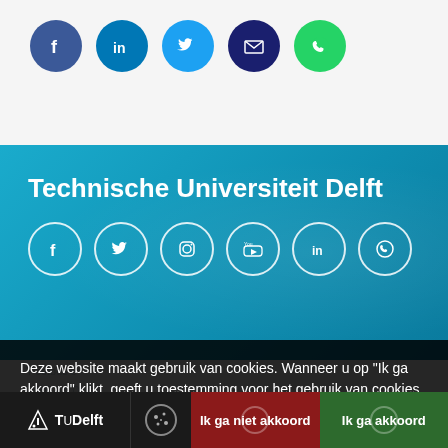[Figure (illustration): Social media share icons: Facebook (dark blue), LinkedIn (blue), Twitter (light blue), Email (dark navy), WhatsApp (green) — filled circle icons]
Technische Universiteit Delft
[Figure (illustration): Social media icons in white outline style on teal background: Facebook, Twitter, Instagram, YouTube, LinkedIn, WhatsApp]
Postbus 5
2600 AA Delft
Tel: +31 (0)15 27 09111
info@tudelft.nl
Deze website maakt gebruik van cookies. Wanneer u op "Ik ga akkoord" klikt, geeft u toestemming voor het gebruik van cookies. Wat zijn cookies?
TUDelft | Ik ga niet akkoord | Ik ga akkoord